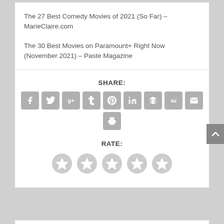The 27 Best Comedy Movies of 2021 (So Far) – MarieClaire.com
The 30 Best Movies on Paramount+ Right Now (November 2021) – Paste Magazine
SHARE:
[Figure (infographic): Row of 9 grey social share icon buttons: Facebook (f), Twitter (bird), Google+ (g+), Tumblr (t), Pinterest (p), LinkedIn (in), Buffer (layers), StumbleUpon (su), Email (envelope). Below, a single print icon button.]
RATE:
[Figure (infographic): Five grey star rating buttons in a row.]